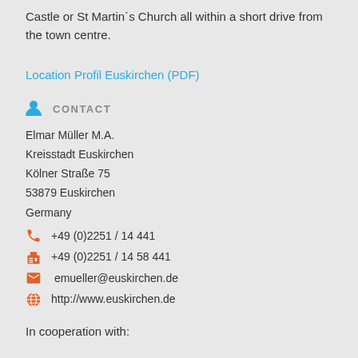Castle or St Martin´s Church all within a short drive from the town centre.
Location Profil Euskirchen (PDF)
CONTACT
Elmar Müller M.A.
Kreisstadt Euskirchen
Kölner Straße 75
53879 Euskirchen
Germany
+49 (0)2251 / 14 441
+49 (0)2251 / 14 58 441
emueller@euskirchen.de
http://www.euskirchen.de
In cooperation with: